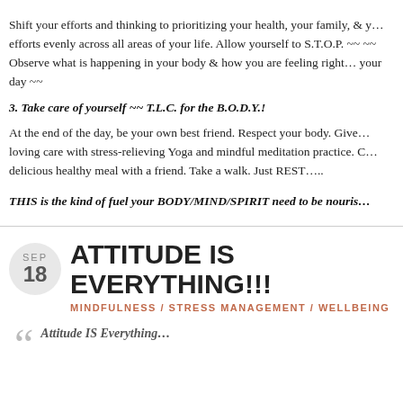Shift your efforts and thinking to prioritizing your health, your family, & y… efforts evenly across all areas of your life. Allow yourself to S.T.O.P. ~~ ~~ Observe what is happening in your body & how you are feeling right… your day ~~
3. Take care of yourself ~~ T.L.C. for the B.O.D.Y.!
At the end of the day, be your own best friend. Respect your body. Give… loving care with stress-relieving Yoga and mindful meditation practice. C… delicious healthy meal with a friend. Take a walk. Just REST…..
THIS is the kind of fuel your BODY/MIND/SPIRIT need to be nouris…
ATTITUDE IS EVERYTHING!!!
MINDFULNESS / STRESS MANAGEMENT / WELLBEING
Attitude IS Everything…